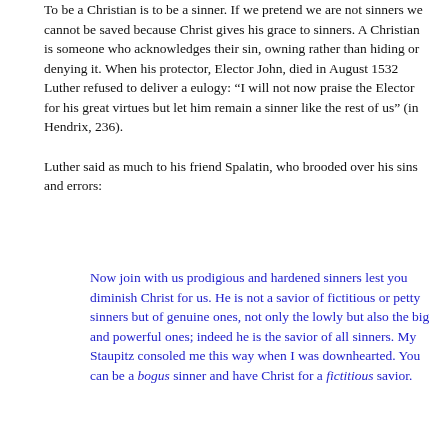To be a Christian is to be a sinner. If we pretend we are not sinners we cannot be saved because Christ gives his grace to sinners. A Christian is someone who acknowledges their sin, owning rather than hiding or denying it. When his protector, Elector John, died in August 1532 Luther refused to deliver a eulogy: “I will not now praise the Elector for his great virtues but let him remain a sinner like the rest of us” (in Hendrix, 236).

Luther said as much to his friend Spalatin, who brooded over his sins and errors:
Now join with us prodigious and hardened sinners lest you diminish Christ for us. He is not a savior of fictitious or petty sinners but of genuine ones, not only the lowly but also the big and powerful ones; indeed he is the savior of all sinners. My Staupitz consoled me this way when I was downhearted. You can be a bogus sinner and have Christ for a fictitious savior.